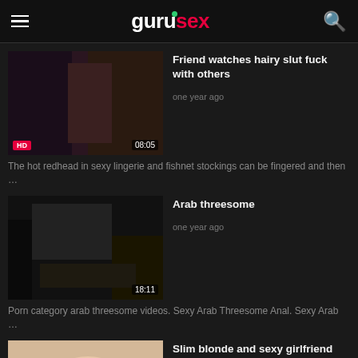gurusex
Friend watches hairy slut fuck with others
one year ago
The hot redhead in sexy lingerie and fishnet stockings can be fingered and then …
Arab threesome
one year ago
Porn category arab threesome videos. Sexy Arab Threesome Anal. Sexy Arab …
Slim blonde and sexy girlfriend have a threesome
one year ago